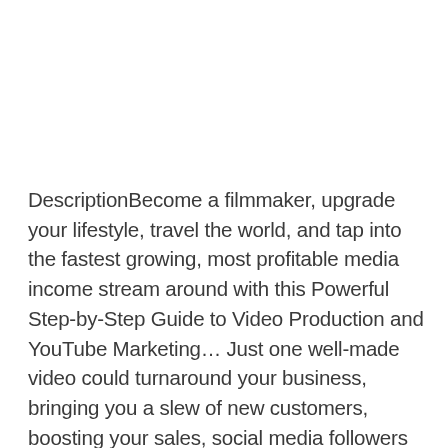DescriptionBecome a filmmaker, upgrade your lifestyle, travel the world, and tap into the fastest growing, most profitable media income stream around with this Powerful Step-by-Step Guide to Video Production and YouTube Marketing… Just one well-made video could turnaround your business, bringing you a slew of new customers, boosting your sales, social media followers and sign ups, and helping you hit those all-important first page spots on Google and YouTube…The Complete Video